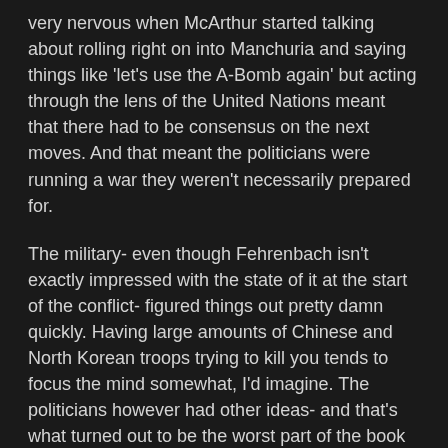very nervous when McArthur started talking about rolling right on into Manchuria and saying things like 'let's use the A-Bomb again' but acting through the lens of the United Nations meant that there had to be consensus on the next moves. And that meant the politicians were running a war they weren't necessarily prepared for.
The military- even though Fehrenbach isn't exactly impressed with the state of it at the start of the conflict- figured things out pretty damn quickly. Having large amounts of Chinese and North Korean troops trying to kill you tends to focus the mind somewhat, I'd imagine. The politicians however had other ideas- and that's what turned out to be the worst part of the book for me, anyway. The two years of brutal stalemate along the 38th Parallel as US/UN Forces fought for control of various strategic hills at great cost in human lives.
Overall: A brilliant military history of a conflict that was more complex than many people realize, this is required reading for